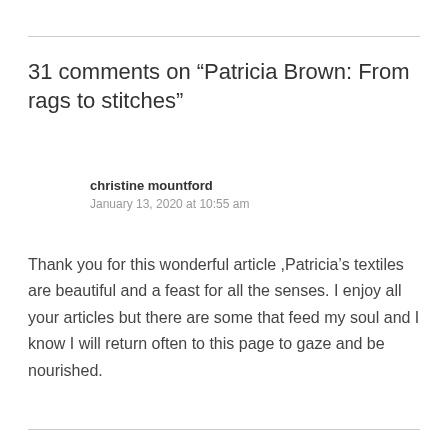31 comments on “Patricia Brown: From rags to stitches”
christine mountford
January 13, 2020 at 10:55 am
Thank you for this wonderful article ,Patricia’s textiles are beautiful and a feast for all the senses. I enjoy all your articles but there are some that feed my soul and I know I will return often to this page to gaze and be nourished.
Reply